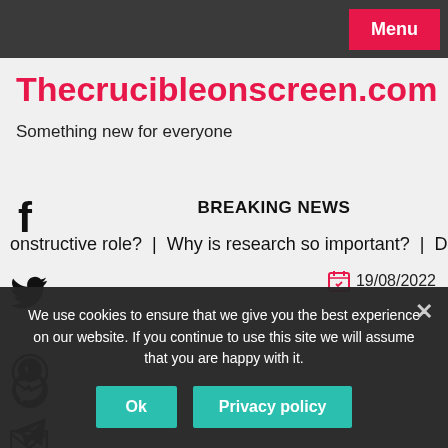Menu
Thecrucibleonscreen.com
Something new for everyone
BREAKING NEWS
onstruc­tive role? | Why is research so important? | Did Ach
19/08/2022
We use cookies to ensure that we give you the best experience on our website. If you continue to use this site we will assume that you are happy with it.
Ok
Privacy policy